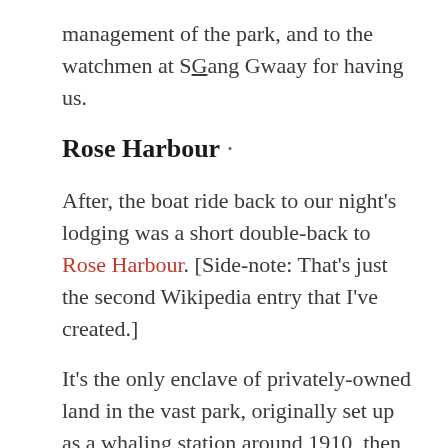management of the park, and to the watchmen at SGang Gwaay for having us.
Rose Harbour ·
After, the boat ride back to our night's lodging was a short double-back to Rose Harbour. [Side-note: That's just the second Wikipedia entry that I've created.]
It's the only enclave of privately-owned land in the vast park, originally set up as a whaling station around 1910, then…